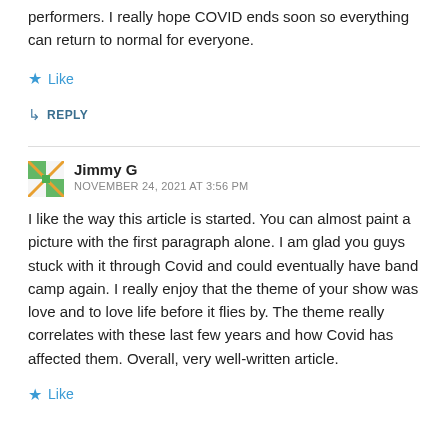performers. I really hope COVID ends soon so everything can return to normal for everyone.
★ Like
↳ REPLY
Jimmy G
NOVEMBER 24, 2021 AT 3:56 PM
I like the way this article is started. You can almost paint a picture with the first paragraph alone. I am glad you guys stuck with it through Covid and could eventually have band camp again. I really enjoy that the theme of your show was love and to love life before it flies by. The theme really correlates with these last few years and how Covid has affected them. Overall, very well-written article.
★ Like